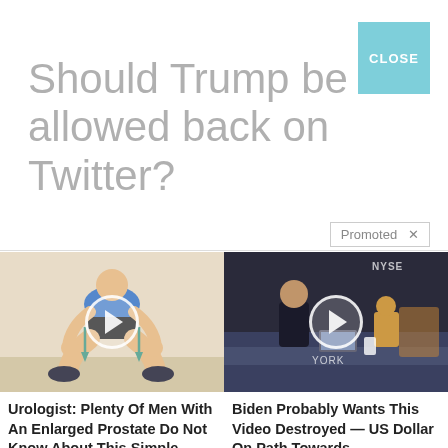Should Trump be allowed back on Twitter?
Promoted X
[Figure (photo): Illustration of a man squatting with arrows pointing down, medical/exercise image with play button overlay]
Urologist: Plenty Of Men With An Enlarged Prostate Do Not Know About This Simple Solution
🔥 1,331
[Figure (photo): NYSE stock exchange floor video thumbnail with people at desk, play button overlay]
Biden Probably Wants This Video Destroyed — US Dollar On Path Towards Replacement?
🔥 63,940